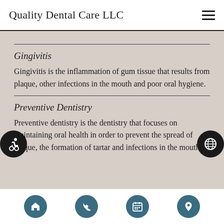Quality Dental Care LLC
Gingivitis
Gingivitis is the inflammation of gum tissue that results from plaque, other infections in the mouth and poor oral hygiene.
Preventive Dentistry
Preventive dentistry is the dentistry that focuses on maintaining oral health in order to prevent the spread of plaque, the formation of tartar and infections in the mouth.